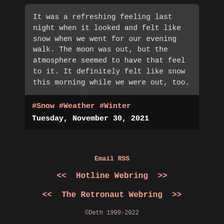It was a refreshing feeling last night when it looked and felt like snow when we went for our evening walk. The moon was out, but the atmosphere seemed to have that feel to it. It definitely felt like snow this morning while we were out, too.
#Snow #Weather #Winter
Tuesday, November 30, 2021
Email RSS
<< Hotline Webring >>
<< The Retronaut Webring >>
©Deth 1999-2022